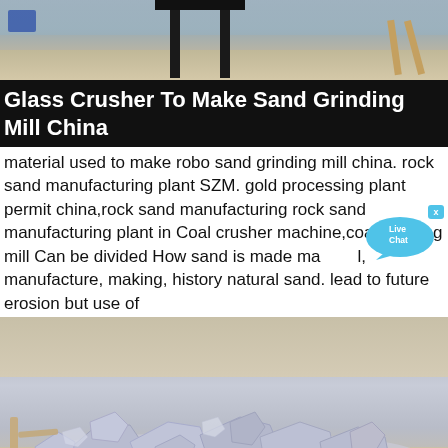[Figure (photo): Outdoor photo showing industrial machinery/equipment on sandy ground]
Glass Crusher To Make Sand Grinding Mill China
material used to make robo sand grinding mill china. rock sand manufacturing plant SZM. gold processing plant permit china,rock sand manufacturing rock sand manufacturing plant in Coal crusher machine,coal grinding mill Can be divided How sand is made material, manufacture, making, history natural sand. lead to future erosion but use of
[Figure (photo): Close-up photo of crushed stone/gravel and powder material on sandy ground]